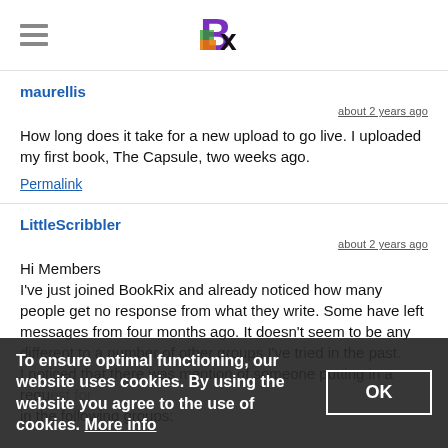BookRix logo and navigation
maurellis
about 2 years ago
How long does it take for a new upload to go live. I uploaded my first book, The Capsule, two weeks ago.
Permalink
LittleScribbler
about 2 years ago
Hi Members
I've just joined BookRix and already noticed how many people get no response from what they write. Some have left messages from four months ago. It doesn't seem to be any different to a number of other groups I've tried in the past.
I noticed that there was mention of someone putting in a request for the following groups:
To ensure optimal functioning, our website uses cookies. By using the website you agree to the use of cookies. More info